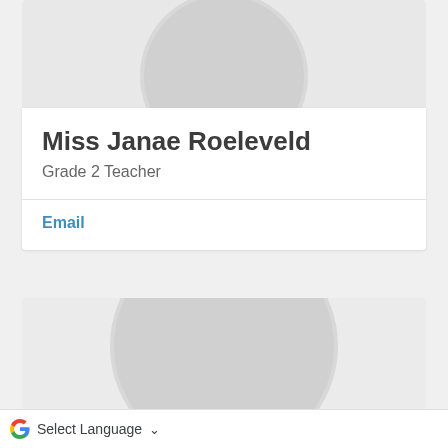[Figure (illustration): Profile avatar placeholder — grey circle on light grey background, top portion of a staff directory card for Miss Janae Roeleveld]
Miss Janae Roeleveld
Grade 2 Teacher
Email
[Figure (illustration): Second profile card showing grey avatar placeholder on light grey background, partially visible]
G  Select Language  ∨